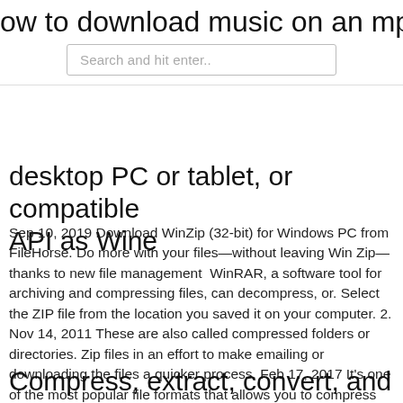ow to download music on an mp4 pla
Search and hit enter..
desktop PC or tablet, or compatible API as Wine
Sep 10, 2019 Download WinZip (32-bit) for Windows PC from FileHorse. Do more with your files—without leaving Win Zip—thanks to new file management  WinRAR, a software tool for archiving and compressing files, can decompress, or. Select the ZIP file from the location you saved it on your computer. 2. Nov 14, 2011 These are also called compressed folders or directories. Zip files in an effort to make emailing or downloading the files a quicker process. Feb 17, 2017 It's one of the most popular file formats that allows you to compress files to to compress files and make them available for download on websites or easy steps to zip and unzip files and save space on your computer's hard
Compress, extract, convert, and repair ZIP, 7-ZIP, RAR, CAB, IMG...